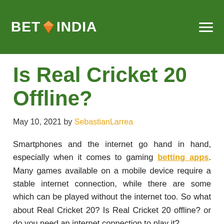BET INDIA
Is Real Cricket 20 Offline?
May 10, 2021 by SebastianLarrea
Smartphones and the internet go hand in hand, especially when it comes to gaming betting apps. Many games available on a mobile device require a stable internet connection, while there are some which can be played without the internet too. So what about Real Cricket 20? Is Real Cricket 20 offline? or do you need an internet connection to play it?
Here is what you need to know.